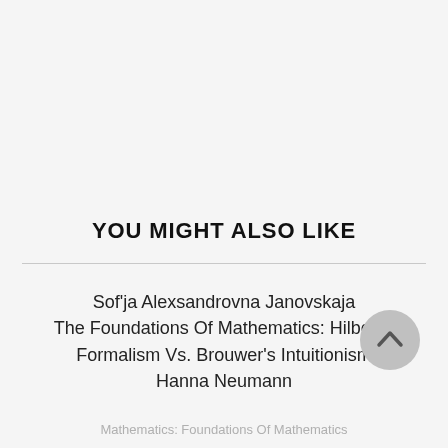YOU MIGHT ALSO LIKE
Sof'ja Alexsandrovna Janovskaja
The Foundations Of Mathematics: Hilbert's Formalism Vs. Brouwer's Intuitionism
Hanna Neumann
Mathematics: Foundations Of Mathematics